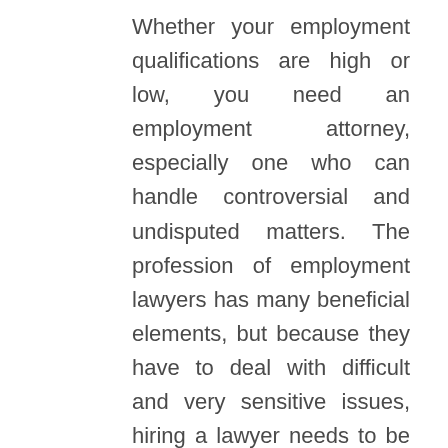Whether your employment qualifications are high or low, you need an employment attorney, especially one who can handle controversial and undisputed matters. The profession of employment lawyers has many beneficial elements, but because they have to deal with difficult and very sensitive issues, hiring a lawyer needs to be able to empathize and make the right decisions. Lawyers from our law firm are expert in preparing and negotiating construction contracts.
If the company or owner withholds contracted services, they will enter into a binding contract with the contractor. A Bronx Construction accident lawyer from WILLIE CONSTRUCTION ACCIDENT LAWYERS law firm ensures that the